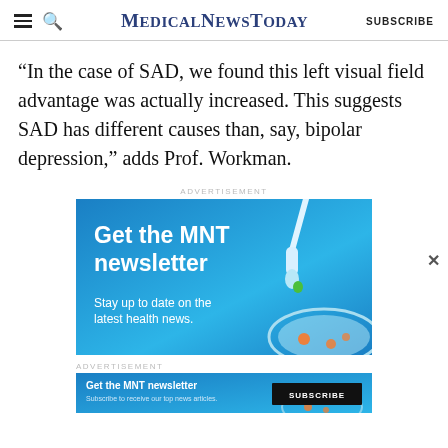MedicalNewsToday SUBSCRIBE
“In the case of SAD, we found this left visual field advantage was actually increased. This suggests SAD has different causes than, say, bipolar depression,” adds Prof. Workman.
ADVERTISEMENT
[Figure (illustration): Blue advertisement banner for MNT newsletter featuring a dropper and petri dish illustration. Text reads 'Get the MNT newsletter' and 'Stay up to date on the latest health news.']
ADVERTISEMENT
[Figure (illustration): Bottom blue advertisement bar: 'Get the MNT newsletter' with 'Subscribe to receive our top news articles.' and a SUBSCRIBE button.]